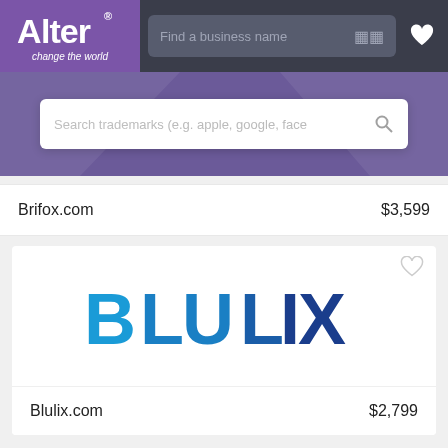[Figure (screenshot): Alter brand logo with purple background, text 'Alter' and tagline 'change the world']
Find a business name
[Figure (screenshot): Search trademarks input field with placeholder text 'Search trademarks (e.g. apple, google, face']
Brifox.com
$3,599
[Figure (logo): Blulix logo - stylized text in blue gradient colors on white card background]
Blulix.com
$2,799